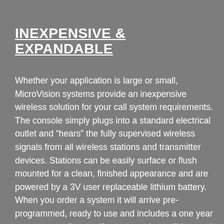INEXPENSIVE & EXPANDABLE
Whether your application is large or small, MicroVision systems provide an inexpensive wireless solution for your call system requirements. The console simply plugs into a standard electrical outlet and “hears” the fully supervised wireless signals from all wireless stations and transmitter devices. Stations can be easily surface or flush mounted for a clean, finished appearance and are powered by a 3V user replaceable lithium battery. When you order a system it will arrive pre-programmed, ready to use and includes a one year warranty on all parts. If any transmitter will be used